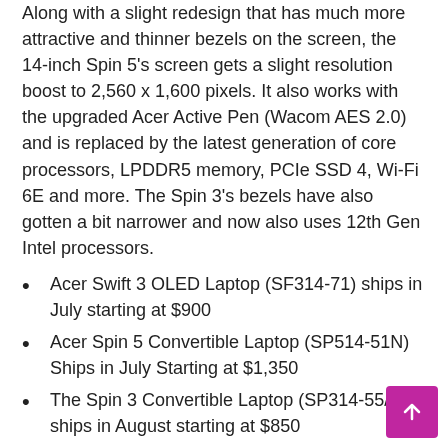Along with a slight redesign that has much more attractive and thinner bezels on the screen, the 14-inch Spin 5's screen gets a slight resolution boost to 2,560 x 1,600 pixels. It also works with the upgraded Acer Active Pen (Wacom AES 2.0) and is replaced by the latest generation of core processors, LPDDR5 memory, PCIe SSD 4, Wi-Fi 6E and more. The Spin 3's bezels have also gotten a bit narrower and now also uses 12th Gen Intel processors.
Acer Swift 3 OLED Laptop (SF314-71) ships in July starting at $900
Acer Spin 5 Convertible Laptop (SP514-51N) Ships in July Starting at $1,350
The Spin 3 Convertible Laptop (SP314-55/N) ships in August starting at $850
[Figure (photo): Acer ConceptD 100 tower desktop computer with matching display, keyboard and mouse]
Acer
Acer also updated the $750 Chromebook Spin 714's screen and